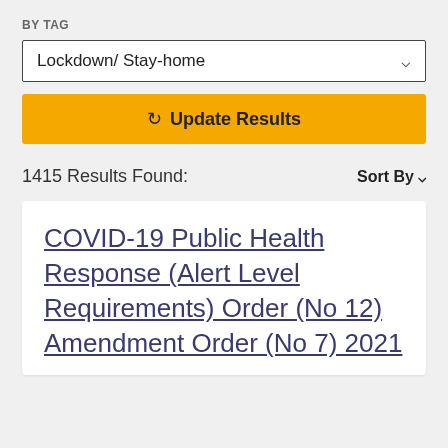BY TAG
Lockdown/ Stay-home
Update Results
1415 Results Found:
Sort By
COVID-19 Public Health Response (Alert Level Requirements) Order (No 12) Amendment Order (No 7) 2021